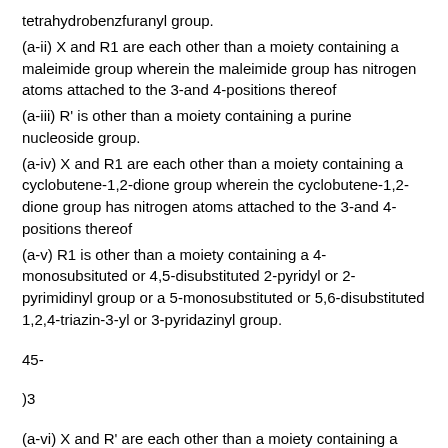tetrahydrobenzfuranyl group.
(a-ii) X and R1 are each other than a moiety containing a maleimide group wherein the maleimide group has nitrogen atoms attached to the 3-and 4-positions thereof
(a-iii) R' is other than a moiety containing a purine nucleoside group.
(a-iv) X and R1 are each other than a moiety containing a cyclobutene-1,2-dione group wherein the cyclobutene-1,2-dione group has nitrogen atoms attached to the 3-and 4-positions thereof
(a-v) R1 is other than a moiety containing a 4-monosubsituted or 4,5-disubstituted 2-pyridyl or 2-pyrimidinyl group or a 5-monosubstituted or 5,6-disubstituted 1,2,4-triazin-3-yl or 3-pyridazinyl group.
45-
)3
(a-vi) X and R' are each other than a moiety containing a substituted or unsubstituted pyrazol-3-ylamine group linked to a substituted or unsubstituted pyridine, diazine or triazine group.